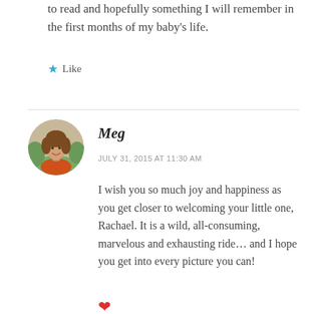to read and hopefully something I will remember in the first months of my baby's life.
★ Like
Meg
JULY 31, 2015 AT 11:30 AM
I wish you so much joy and happiness as you get closer to welcoming your little one, Rachael. It is a wild, all-consuming, marvelous and exhausting ride... and I hope you get into every picture you can!
[Figure (photo): Round avatar photo of a woman named Meg, smiling, with curly hair and an orange top, outdoors with green background.]